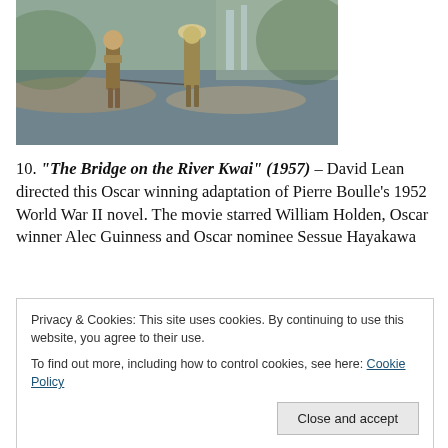[Figure (photo): Two soldiers walking through shallow water, one carrying equipment, with a rocky riverbank and waterfall in the background. Still from The Bridge on the River Kwai.]
10. “The Bridge on the River Kwai” (1957) – David Lean directed this Oscar winning adaptation of Pierre Boulle’s 1952 World War II novel. The movie starred William Holden, Oscar winner Alec Guinness and Oscar nominee Sessue Hayakawa
Privacy & Cookies: This site uses cookies. By continuing to use this website, you agree to their use.
To find out more, including how to control cookies, see here: Cookie Policy
Close and accept
[Figure (photo): Partial view of another film still at the bottom of the page.]